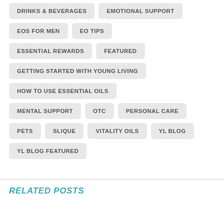DRINKS & BEVERAGES
EMOTIONAL SUPPORT
EOS FOR MEN
EO TIPS
ESSENTIAL REWARDS
FEATURED
GETTING STARTED WITH YOUNG LIVING
HOW TO USE ESSENTIAL OILS
MENTAL SUPPORT
OTC
PERSONAL CARE
PETS
SLIQUE
VITALITY OILS
YL BLOG
YL BLOG FEATURED
RELATED POSTS